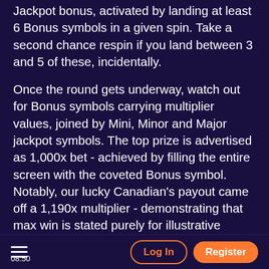Jackpot bonus, activated by landing at least 6 Bonus symbols in a given spin. Take a second chance respin if you land between 3 and 5 of these, incidentally.
Once the round gets underway, watch out for Bonus symbols carrying multiplier values, joined by Mini, Minor and Major jackpot symbols. The top prize is advertised as 1,000x bet - achieved by filling the entire screen with the coveted Bonus symbol. Notably, our lucky Canadian's payout came off a 1,190x multiplier - demonstrating that max win is stated purely for illustrative purposes - and can be eclipsed on the rare occasion.
The best of the rest come from providers of the highest pedigree. Pragmatic Play's canine-themed The Dog House takes up a pair of positions on the table (€6,388, €6,272) alongside Play'n GO pillar Book of Dead (€6,369) and iconic
08:50  Log In  Register